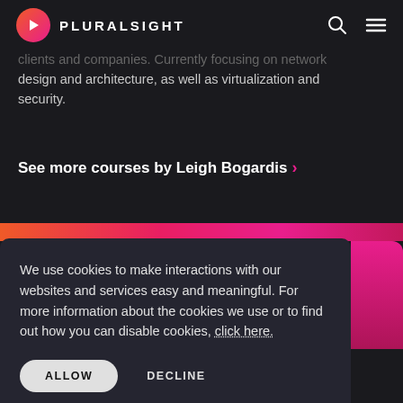PLURALSIGHT
clients and companies. Currently focusing on network design and architecture, as well as virtualization and security.
See more courses by Leigh Bogardis ›
We use cookies to make interactions with our websites and services easy and meaningful. For more information about the cookies we use or to find out how you can disable cookies, click here.
ALLOW
DECLINE